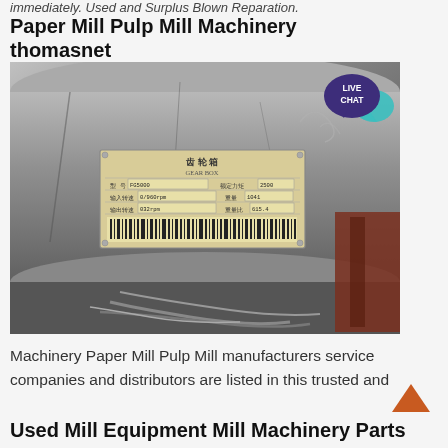immediately. Used and Surplus Blown Reparation.
Paper Mill Pulp Mill Machinery thomasnet
[Figure (photo): Close-up photo of industrial gear box machinery with a Chinese-language nameplate label affixed to a large metal drum/cylinder, with cables and pipes visible at the bottom right.]
Machinery Paper Mill Pulp Mill manufacturers service companies and distributors are listed in this trusted and
Used Mill Equipment Mill Machinery Parts